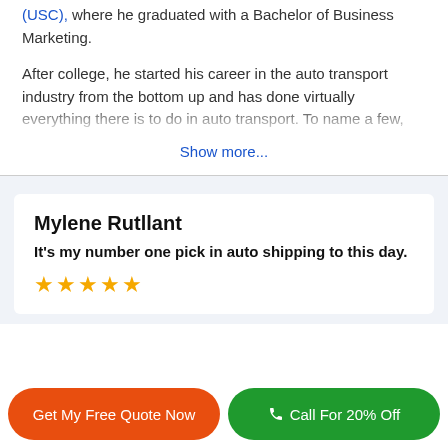(USC), where he graduated with a Bachelor of Business Marketing.
After college, he started his career in the auto transport industry from the bottom up and has done virtually [text continues, truncated]
Show more...
Mylene Rutllant
It's my number one pick in auto shipping to this day.
★★★★★
Get My Free Quote Now
Call For 20% Off